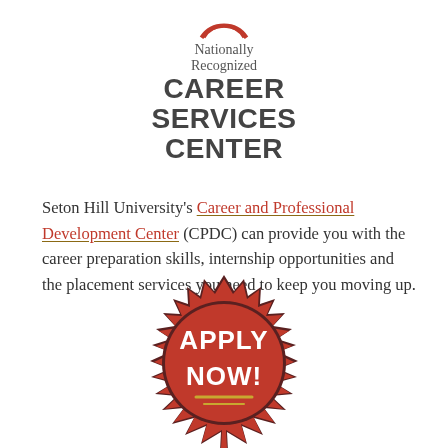[Figure (logo): Nationally Recognized Career Services Center logo with red circular icon at top, followed by text 'Nationally Recognized' in gray serif, then 'CAREER SERVICES CENTER' in bold dark gray sans-serif]
Seton Hill University's Career and Professional Development Center (CPDC) can provide you with the career preparation skills, internship opportunities and the placement services you need to keep you moving up.
[Figure (illustration): Red starburst/seal badge with white text 'APPLY NOW!' and gold underline accent at bottom]